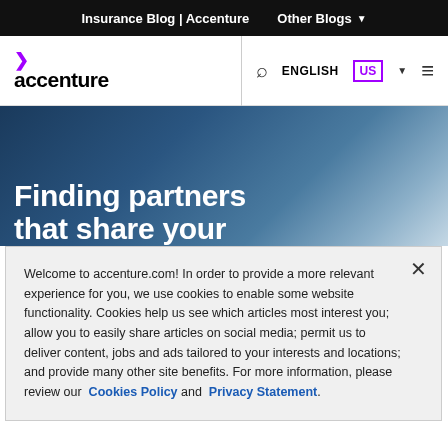Insurance Blog | Accenture   Other Blogs ▼
[Figure (logo): Accenture logo with purple chevron and black wordmark]
[Figure (screenshot): Accenture website navigation bar with search icon, ENGLISH US language selector, and hamburger menu]
Finding partners that share your
Welcome to accenture.com! In order to provide a more relevant experience for you, we use cookies to enable some website functionality. Cookies help us see which articles most interest you; allow you to easily share articles on social media; permit us to deliver content, jobs and ads tailored to your interests and locations; and provide many other site benefits. For more information, please review our Cookies Policy and Privacy Statement.